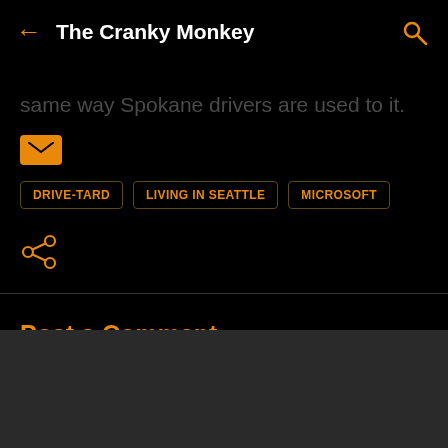The Cranky Monkey
same way Spokane drivers are used to it.
DRIVE-TARD
LIVING IN SEATTLE
MICROSOFT
Post a Comment